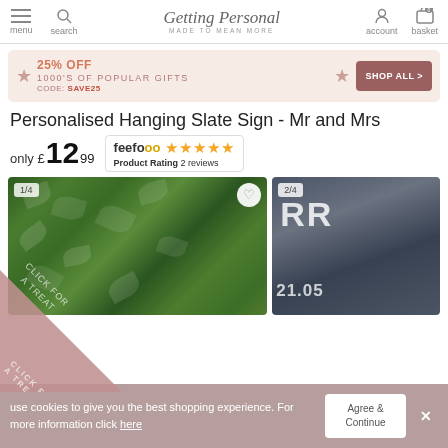Getting Personal - MADE TO MEAN MORE | menu | search | account | basket
[Figure (infographic): Promotional banner: 25% OFF 1000's of Popular Gifts CODE: SAVE25 with SHOP ALL > button]
Personalised Hanging Slate Sign - Mr and Mrs
only £12.99 | feefo Product Rating 2 reviews (5 stars)
[Figure (photo): Product photo 1/4: ivy leaves background]
[Figure (photo): Product photo 2/4: close-up of slate with engraved text RR and date 21.05]
use cookies to give you the best shopping experience. For more information click here
Agree & Continue
CLICK FOR A TREAT